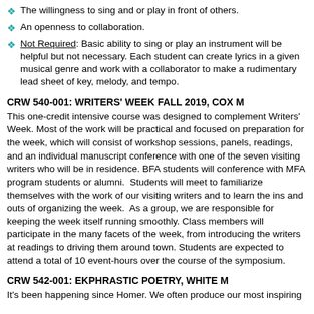The willingness to sing and or play in front of others.
An openness to collaboration.
Not Required: Basic ability to sing or play an instrument will be helpful but not necessary. Each student can create lyrics in a given musical genre and work with a collaborator to make a rudimentary lead sheet of key, melody, and tempo.
CRW 540-001: WRITERS' WEEK FALL 2019, COX M
This one-credit intensive course was designed to complement Writers' Week. Most of the work will be practical and focused on preparation for the week, which will consist of workshop sessions, panels, readings, and an individual manuscript conference with one of the seven visiting writers who will be in residence. BFA students will conference with MFA program students or alumni.  Students will meet to familiarize themselves with the work of our visiting writers and to learn the ins and outs of organizing the week.  As a group, we are responsible for keeping the week itself running smoothly. Class members will participate in the many facets of the week, from introducing the writers at readings to driving them around town. Students are expected to attend a total of 10 event-hours over the course of the symposium.
CRW 542-001: EKPHRASTIC POETRY, WHITE M
It's been happening since Homer. We often produce our most inspiring